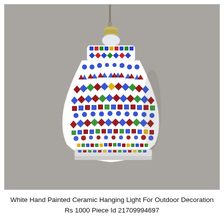[Figure (photo): A mosaic ceramic hanging pendant lamp decorated with colorful tile pieces in blue, red, green, yellow, and white geometric patterns (diamonds, triangles, squares). The lamp has an ornate gourd/onion shape and hangs from a brass-toned metal fitting. Background is grey.]
White Hand Painted Ceramic Hanging Light For Outdoor Decoration Rs 1000 Piece Id 21709994697